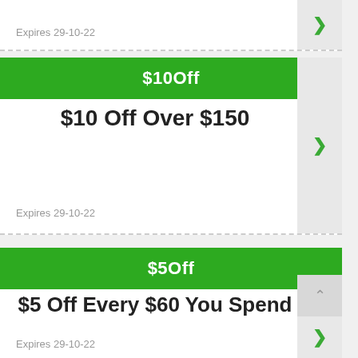Expires 29-10-22
$10Off
$10 Off Over $150
Expires 29-10-22
$5Off
$5 Off Every $60 You Spend
Expires 29-10-22